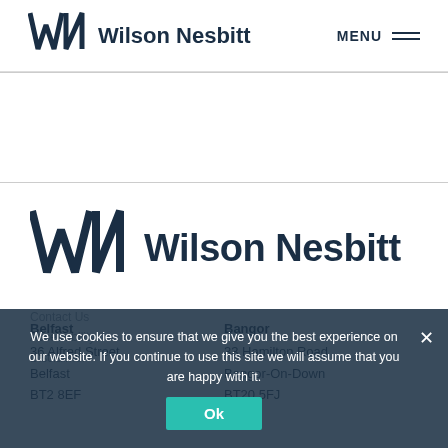Wilson Nesbitt | MENU
[Figure (logo): Wilson Nesbitt law firm logo with WN monogram, large version in page body]
Belfast
36 Alfred Street
Belfast
BT2 8EF
Bangor
33 Hamilton Road
Bangor-On-Down
BT20 5FJ
We use cookies to ensure that we give you the best experience on our website. If you continue to use this site we will assume that you are happy with it.
Contact Us
Accessibility
Disclaimer